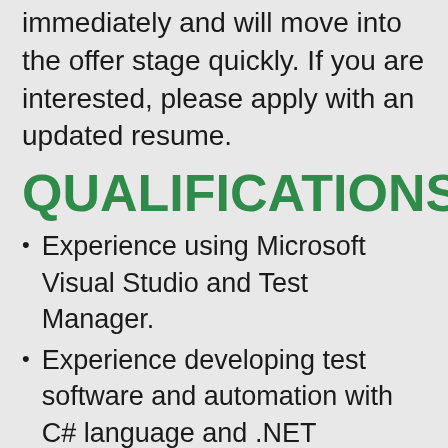immediately and will move into the offer stage quickly. If you are interested, please apply with an updated resume.
QUALIFICATIONS
Experience using Microsoft Visual Studio and Test Manager.
Experience developing test software and automation with C# language and .NET framework.
Experience with security techniques and protocols.
Experience with medical devices or other regular industries, cardiac